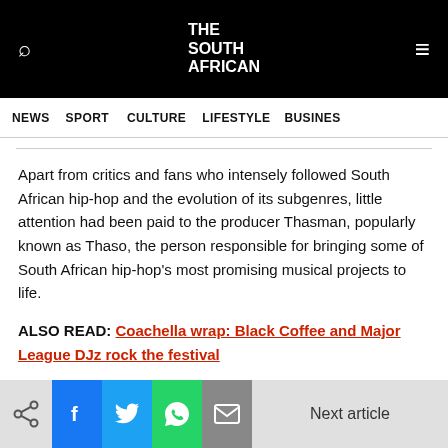THE SOUTH AFRICAN
NEWS  SPORT  CULTURE  LIFESTYLE  BUSINESS
Apart from critics and fans who intensely followed South African hip-hop and the evolution of its subgenres, little attention had been paid to the producer Thasman, popularly known as Thaso, the person responsible for bringing some of South African hip-hop's most promising musical projects to life.
ALSO READ: Coachella wrap: Black Coffee and Major League DJz rock the festival
Next article